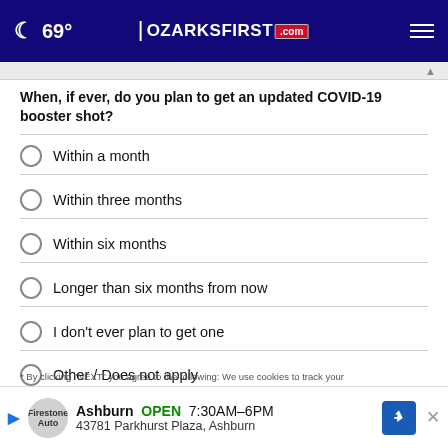69° OZARKSFIRST.com
When, if ever, do you plan to get an updated COVID-19 booster shot?
Within a month
Within three months
Within six months
Longer than six months from now
I don't ever plan to get one
Other / Does not apply
NEXT *
* By clicking "NEXT" you agree to the following: We use cookies to track your... reach...
Ashburn OPEN | 7:30AM–6PM 43781 Parkhurst Plaza, Ashburn